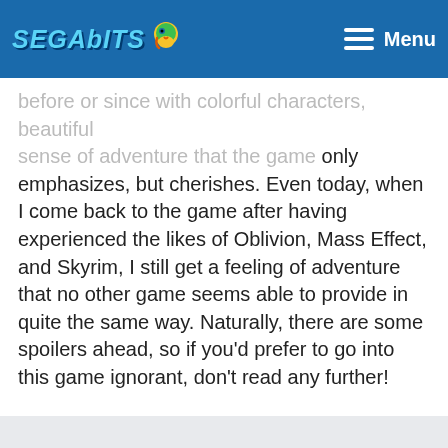SEGABITS | Menu
before or since with colorful characters, beautiful...only emphasizes, but cherishes. Even today, when I come back to the game after having experienced the likes of Oblivion, Mass Effect, and Skyrim, I still get a feeling of adventure that no other game seems able to provide in quite the same way. Naturally, there are some spoilers ahead, so if you'd prefer to go into this game ignorant, don't read any further!
Continue Reading →
4 Comments
Aboard Little Jack: How Skies Of Arcadia made an RPG fan out